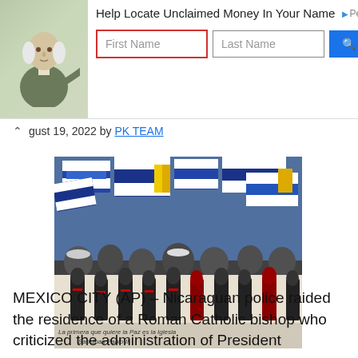[Figure (screenshot): Advertisement banner: Help Locate Unclaimed Money In Your Name - PeopleLooker, with First Name and Last Name input fields and a Search button. Features an illustration of a founding father figure on the left.]
gust 19, 2022 by PK TEAM
[Figure (photo): Protesters holding Nicaraguan blue and white flags with a banner showing Catholic bishops and the text 'La primera que quiere la Paz es la Iglesia - San Juan Pablo II']
MEXICO CITY (AP) – Nicaraguan police raided the residence of a Roman Catholic bishop who criticized the administration of President